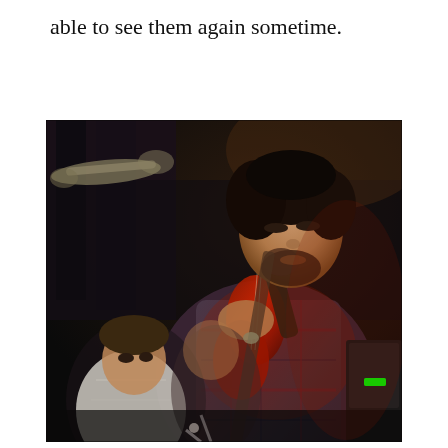able to see them again sometime.
[Figure (photo): A musician with dark hair and a beard plays an electric guitar on stage, wearing a plaid flannel shirt. He appears focused, eyes downward. In the background, another person in a white shirt is visible, along with dark curtains and a trumpet. The scene is dimly lit with warm stage lighting.]